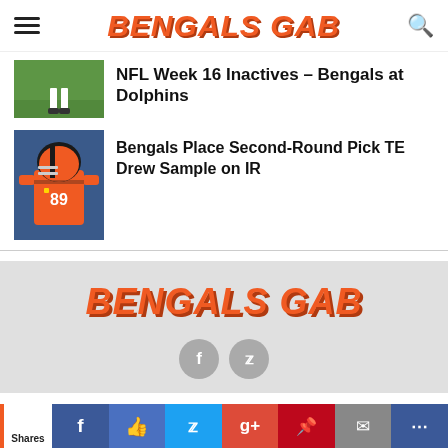BENGALS GAB
[Figure (photo): Cropped photo of football player feet on green field]
NFL Week 16 Inactives – Bengals at Dolphins
[Figure (photo): Cincinnati Bengals player #89 in orange and black uniform]
Bengals Place Second-Round Pick TE Drew Sample on IR
[Figure (logo): BENGALS GAB logo in orange italic bold text on gray background]
[Figure (infographic): Social sharing bar with Facebook, thumbs up, Twitter, Google+, Pinterest, mail, and more buttons]